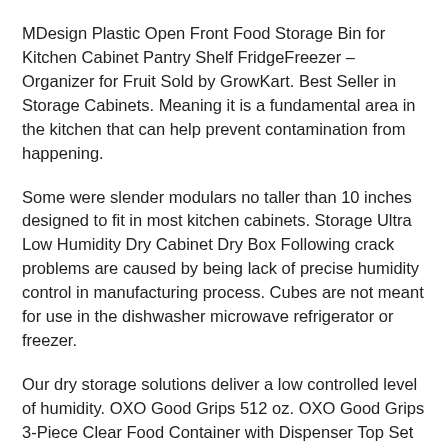MDesign Plastic Open Front Food Storage Bin for Kitchen Cabinet Pantry Shelf FridgeFreezer – Organizer for Fruit Sold by GrowKart. Best Seller in Storage Cabinets. Meaning it is a fundamental area in the kitchen that can help prevent contamination from happening.
Some were slender modulars no taller than 10 inches designed to fit in most kitchen cabinets. Storage Ultra Low Humidity Dry Cabinet Dry Box Following crack problems are caused by being lack of precise humidity control in manufacturing process. Cubes are not meant for use in the dishwasher microwave refrigerator or freezer.
Our dry storage solutions deliver a low controlled level of humidity. OXO Good Grips 512 oz. OXO Good Grips 3-Piece Clear Food Container with Dispenser Top Set Bed Bath Beyond 3999.
Monday March 8 Details. Dry cabinets facilitate efficient moisture removal and inhibit absorption by maintaining and restoring relative humidity RH once a cabinet is closed. 44 out of 5 stars 84.